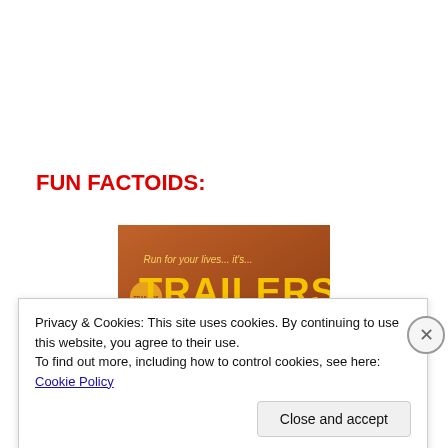FUN FACTOIDS:
[Figure (photo): DVD cover of 'Trailers from Hell' — brown/orange background with yellow bold text reading 'TRAILERS' and partial text below. Small text at top reads 'Run for your lives... it's...' with a small round logo on the left.]
Privacy & Cookies: This site uses cookies. By continuing to use this website, you agree to their use.
To find out more, including how to control cookies, see here: Cookie Policy
Close and accept